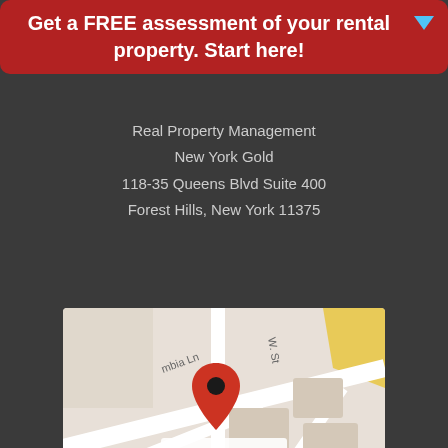Get a FREE assessment of your rental property. Start here!
Real Property Management
New York Gold
118-35 Queens Blvd Suite 400
Forest Hills, New York 11375
[Figure (map): Google Maps screenshot showing location at 118-35 Queens Blvd, Forest Hills, with a red location pin and 'Click on map' overlay label]
[Figure (logo): Facebook and LinkedIn social media icon buttons]
Careers ›
Contact Us ›
Real Estate Agents ›
Real Property Management National Headquarters ›